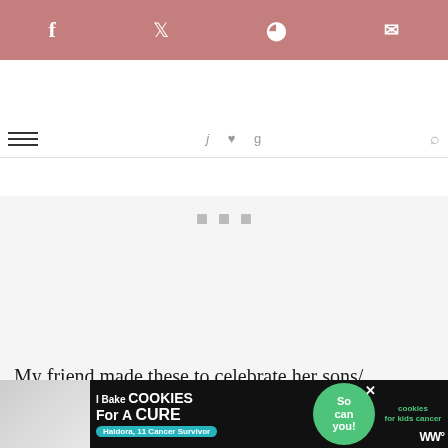[Figure (screenshot): Social share bar with Facebook, Twitter, Pinterest, and Email icons on pink/mauve background]
Navigation bar with hamburger menu, nav items, and search icon
[Figure (other): Light gray placeholder/ad area with three small gray dots centered near top]
My friend made these to celebrate her sons/ birthdays during quarantine. Instead of handing out cake to friends a
[Figure (other): Advertisement banner: I Bake COOKIES For A CURE – Haldora, 11 Cancer Survivor – So can you! – cookies for kids cancer logo]